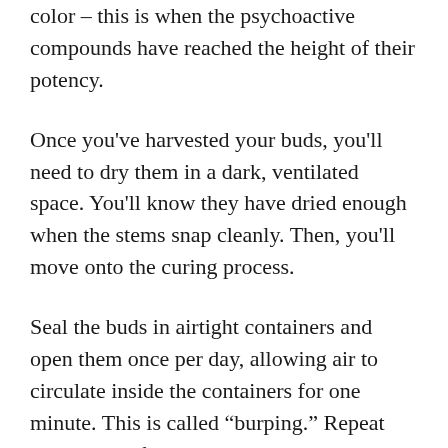color – this is when the psychoactive compounds have reached the height of their potency.
Once you've harvested your buds, you'll need to dry them in a dark, ventilated space. You'll know they have dried enough when the stems snap cleanly. Then, you'll move onto the curing process.
Seal the buds in airtight containers and open them once per day, allowing air to circulate inside the containers for one minute. This is called “burping.” Repeat this process for three weeks or until you’re satisfied with the buds’